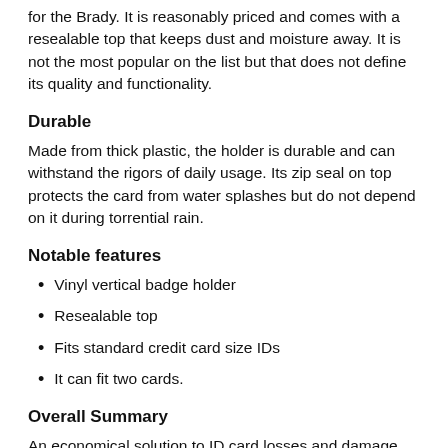for the Brady. It is reasonably priced and comes with a resealable top that keeps dust and moisture away. It is not the most popular on the list but that does not define its quality and functionality.
Durable
Made from thick plastic, the holder is durable and can withstand the rigors of daily usage. Its zip seal on top protects the card from water splashes but do not depend on it during torrential rain.
Notable features
Vinyl vertical badge holder
Resealable top
Fits standard credit card size IDs
It can fit two cards.
Overall Summary
An economical solution to ID card losses and damage, the Brady available for less than five dollars are a bargain piece of